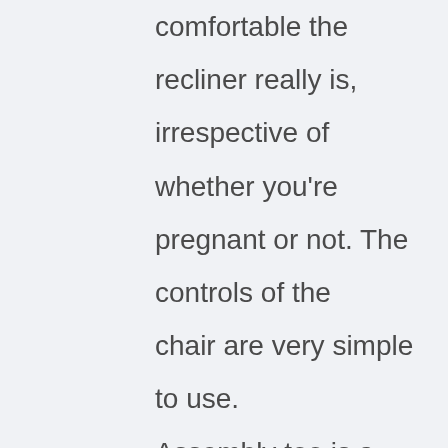comfortable the recliner really is, irrespective of whether you're pregnant or not. The controls of the chair are very simple to use. Assembly too is a very easy undertaking in this case.

To be honest, it might not be a heavy-duty recliner chair. Nevertheless, this product is built to last and provide ultimate comfort and support not only to your spine but